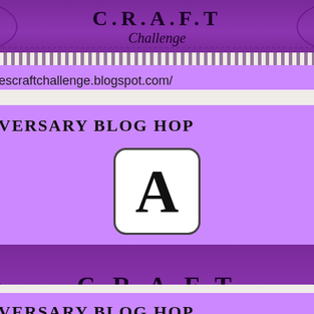[Figure (illustration): Top portion of a purple craft challenge blog badge with C.R.A.F.T Challenge text and decorative swirl patterns on dark purple background]
http://trimmiescraftchallenge.blogspot.com/
BLOGAVERSARY BLOG HOP
[Figure (logo): Letter A in bold serif font inside a white rounded rectangle box with dark border]
[Figure (illustration): C.R.A.F.T Challenge banner with decorative swirl patterns on dark purple textured background]
http://trimmiescraftchallenge.blogspot.com/
BLOGAVERSARY BLOG HOP